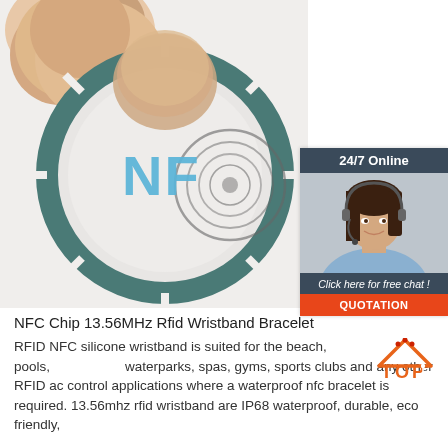[Figure (photo): Close-up photo of fingers holding an NFC chip disc/sticker with 'NFC' text in blue and circular antenna pattern on a round disc with teal segmented border ring]
[Figure (infographic): 24/7 Online customer service widget showing a woman with headset, dark header '24/7 Online', footer text 'Click here for free chat!', and orange QUOTATION button]
NFC Chip 13.56MHz Rfid Wristband Bracelet
RFID NFC silicone wristband is suited for the beach, pools, waterparks, spas, gyms, sports clubs and any other RFID access control applications where a waterproof nfc bracelet is required. 13.56mhz rfid wristband are IP68 waterproof, durable, eco friendly,
[Figure (logo): TOP logo — orange triangle/hat shape with red dots above, orange text 'TOP' with a figure inside the P letter]